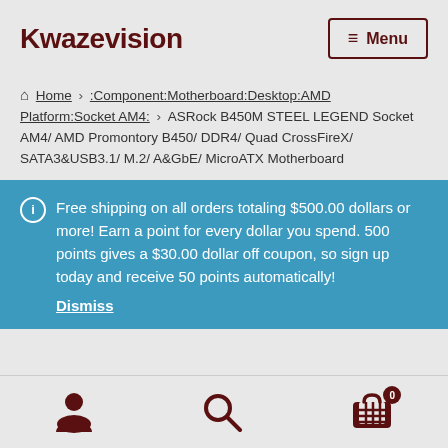Kwazevision | Menu
Home › :Component:Motherboard:Desktop:AMD Platform:Socket AM4: › ASRock B450M STEEL LEGEND Socket AM4/ AMD Promontory B450/ DDR4/ Quad CrossFireX/ SATA3&USB3.1/ M.2/ A&GbE/ MicroATX Motherboard
Free shipping on all orders totaling $500.00 dollars or more! Earn a point for every dollar you spend. 500 points gives a $30.00 dollar off coupon, so sign up today and receive 50 points automatically! Dismiss
User | Search | Cart (0)